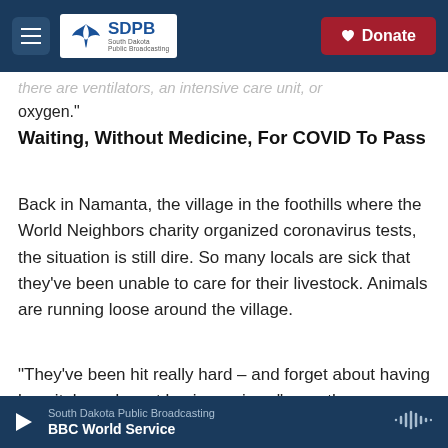SDPB South Dakota Public Broadcasting | Donate
there are ventilators, an intensive care unit, or oxygen."
Waiting, Without Medicine, For COVID To Pass
Back in Namanta, the village in the foothills where the World Neighbors charity organized coronavirus tests, the situation is still dire. So many locals are sick that they've been unable to care for their livestock. Animals are running loose around the village.
"They've been hit really hard – and forget about having hospitals or decent basic services," says the
South Dakota Public Broadcasting | BBC World Service